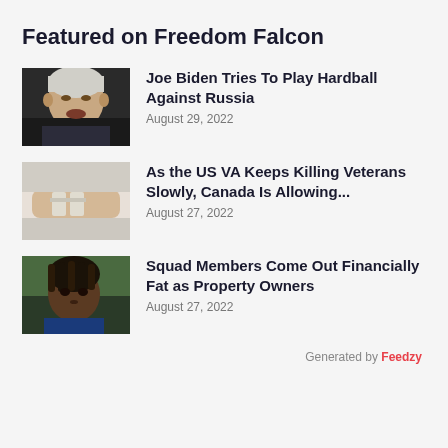Featured on Freedom Falcon
[Figure (photo): Close-up photo of an elderly white-haired man speaking]
Joe Biden Tries To Play Hardball Against Russia
August 29, 2022
[Figure (photo): Photo of a person's arm with medical tape/bandages]
As the US VA Keeps Killing Veterans Slowly, Canada Is Allowing...
August 27, 2022
[Figure (photo): Photo of a Black woman with braided hair looking at camera]
Squad Members Come Out Financially Fat as Property Owners
August 27, 2022
Generated by Feedzy